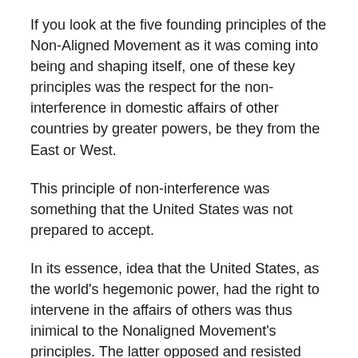If you look at the five founding principles of the Non-Aligned Movement as it was coming into being and shaping itself, one of these key principles was the respect for the non-interference in domestic affairs of other countries by greater powers, be they from the East or West.
This principle of non-interference was something that the United States was not prepared to accept.
In its essence, idea that the United States, as the world's hegemonic power, had the right to intervene in the affairs of others was thus inimical to the Nonaligned Movement's principles. The latter opposed and resisted outside interference in their internal domestic affairs from the very outset of that movement.
At the beginning of Biden's presidency in 2020, we